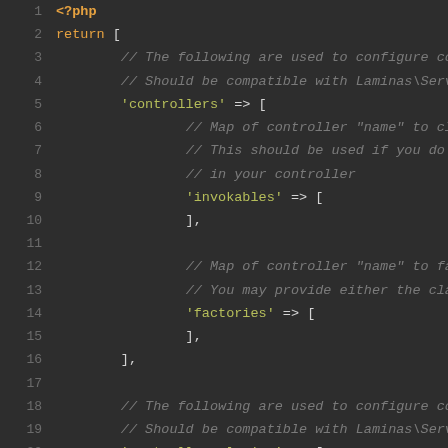[Figure (screenshot): PHP code editor screenshot showing a dark-themed code editor with syntax highlighting. Lines 1-21 of a PHP configuration file are shown. The code contains PHP opening tag, return array with controllers key (invokables and factories sub-keys), and controller_plugins key.]